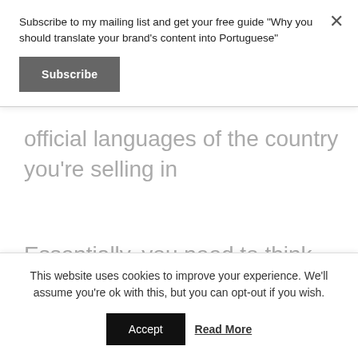Subscribe to my mailing list and get your free guide "Why you should translate your brand's content into Portuguese"
Subscribe
official languages of the country you're selling in
Essentially, you need to think long and hard about the experience that customers in each target market have
This website uses cookies to improve your experience. We'll assume you're ok with this, but you can opt-out if you wish.
Accept
Read More